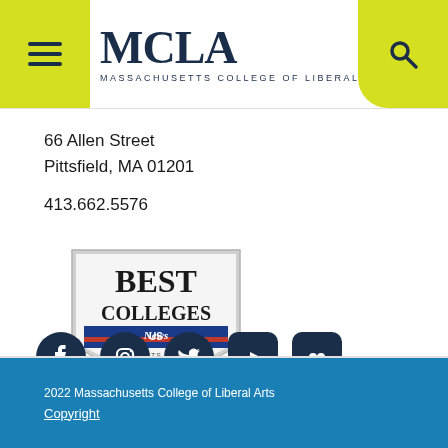MCLA — Massachusetts College of Liberal Arts
66 Allen Street
Pittsfield, MA 01201
413.662.5576
[Figure (logo): US News Best Colleges 2022 badge — Liberal Arts Colleges, Public]
[Figure (illustration): Social media icons: Facebook, Instagram, Twitter, YouTube, Flickr]
2022 Massachusetts College of Liberal Arts
Copyright